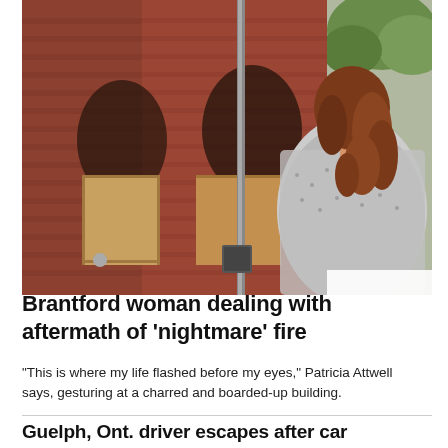[Figure (photo): A woman with curly auburn hair viewed from behind, looking at a fire-damaged brick building with boarded-up windows and black soot marks above them.]
Brantford woman dealing with aftermath of 'nightmare' fire
“This is where my life flashed before my eyes,” Patricia Attwell says, gesturing at a charred and boarded-up building.
Guelph, Ont. driver escapes after car becomes submerged in deep hole